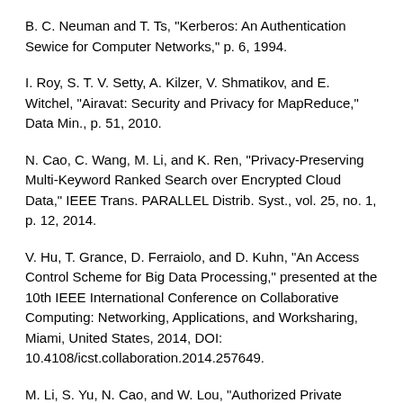B. C. Neuman and T. Ts, "Kerberos: An Authentication Sewice for Computer Networks," p. 6, 1994.
I. Roy, S. T. V. Setty, A. Kilzer, V. Shmatikov, and E. Witchel, "Airavat: Security and Privacy for MapReduce," Data Min., p. 51, 2010.
N. Cao, C. Wang, M. Li, and K. Ren, "Privacy-Preserving Multi-Keyword Ranked Search over Encrypted Cloud Data," IEEE Trans. PARALLEL Distrib. Syst., vol. 25, no. 1, p. 12, 2014.
V. Hu, T. Grance, D. Ferraiolo, and D. Kuhn, "An Access Control Scheme for Big Data Processing," presented at the 10th IEEE International Conference on Collaborative Computing: Networking, Applications, and Worksharing, Miami, United States, 2014, DOI: 10.4108/icst.collaboration.2014.257649.
M. Li, S. Yu, N. Cao, and W. Lou, "Authorized Private Keyword Search over Encrypted Data in Cloud Computing," p. 10, 2011.